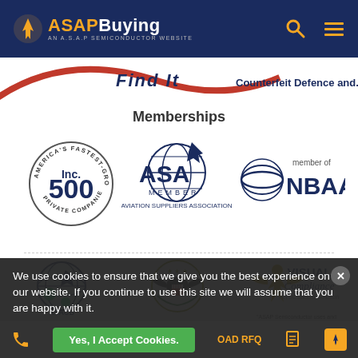ASAPBuying — AN A.S.A.P SEMICONDUCTOR WEBSITE
[Figure (screenshot): Red curve banner with italic bold text partially visible]
Memberships
[Figure (logo): Inc. 500 America's Fastest-Growing Private Companies circular logo]
[Figure (logo): ASA Member - Aviation Suppliers Association logo with globe and airplane]
[Figure (logo): NBAA member of logo with globe stripes]
[Figure (logo): ASACB AS9120B ISO 9001:2015 certification logo]
[Figure (logo): Cage Code 6RE77 - US government eagle seal]
[Figure (logo): Visual Compliance An eCustoms Solution logo with eagle]
We use cookies to ensure that we give you the best experience on our website. If you continue to use this site we will assume that you are happy with it.
Yes, I Accept Cookies.